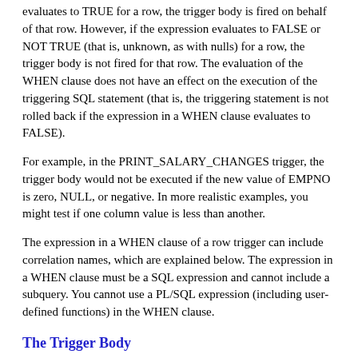evaluates to TRUE for a row, the trigger body is fired on behalf of that row. However, if the expression evaluates to FALSE or NOT TRUE (that is, unknown, as with nulls) for a row, the trigger body is not fired for that row. The evaluation of the WHEN clause does not have an effect on the execution of the triggering SQL statement (that is, the triggering statement is not rolled back if the expression in a WHEN clause evaluates to FALSE).
For example, in the PRINT_SALARY_CHANGES trigger, the trigger body would not be executed if the new value of EMPNO is zero, NULL, or negative. In more realistic examples, you might test if one column value is less than another.
The expression in a WHEN clause of a row trigger can include correlation names, which are explained below. The expression in a WHEN clause must be a SQL expression and cannot include a subquery. You cannot use a PL/SQL expression (including user-defined functions) in the WHEN clause.
The Trigger Body
The trigger body is a PL/SQL block that can include SQL and PL/SQL statements. These statements are executed if the triggering statement is issued and the trigger restriction (if included) evaluates to TRUE. The trigger body for row triggers has some